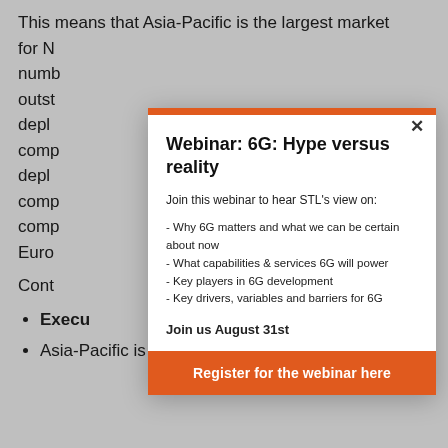This means that Asia-Pacific is the largest market for N... numb... outst... depl... comp... depl... comp... comp... Euro...
Cont...
Execu...
Asia-Pacific is the leading global SDN / NFV market
Webinar: 6G: Hype versus reality
Join this webinar to hear STL's view on:
- Why 6G matters and what we can be certain about now
- What capabilities & services 6G will power
- Key players in 6G development
- Key drivers, variables and barriers for 6G
Join us August 31st
Register for the webinar here